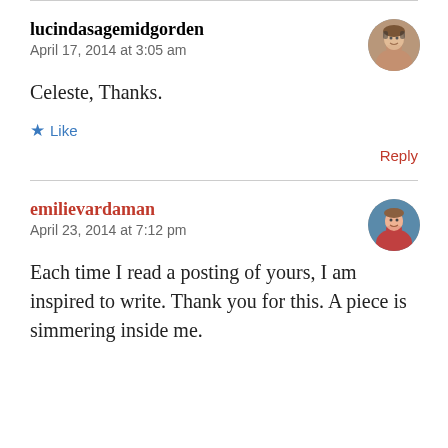lucindasagemidgorden
April 17, 2014 at 3:05 am
Celeste, Thanks.
★ Like
Reply
emilievardaman
April 23, 2014 at 7:12 pm
Each time I read a posting of yours, I am inspired to write. Thank you for this. A piece is simmering inside me.